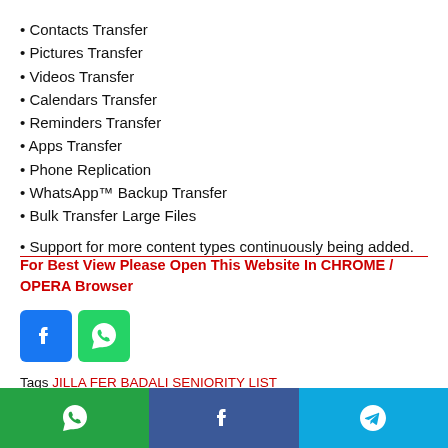• Contacts Transfer
• Pictures Transfer
• Videos Transfer
• Calendars Transfer
• Reminders Transfer
• Apps Transfer
• Phone Replication
• WhatsApp™ Backup Transfer
• Bulk Transfer Large Files
• Support for more content types continuously being added.
For Best View Please Open This Website In CHROME / OPERA Browser
[Figure (logo): Facebook and WhatsApp social media icon buttons]
Tags JILLA FER BADALI SENIORITY LIST
[Figure (infographic): Bottom share bar with WhatsApp, Facebook, and Telegram icons]